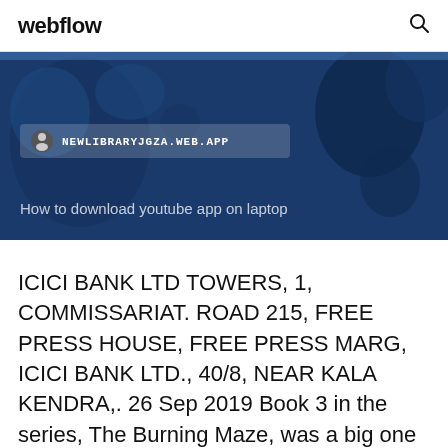webflow
[Figure (screenshot): Webflow browser screenshot showing a dark blue map background with a URL bar displaying NEWLIBRARYJGZA.WEB.APP and a search query 'How to download youtube app on laptop']
ICICI BANK LTD TOWERS, 1, COMMISSARIAT. ROAD 215, FREE PRESS HOUSE, FREE PRESS MARG, ICICI BANK LTD., 40/8, NEAR KALA KENDRA,. 26 Sep 2019 Book 3 in the series, The Burning Maze, was a big one for the Percy for